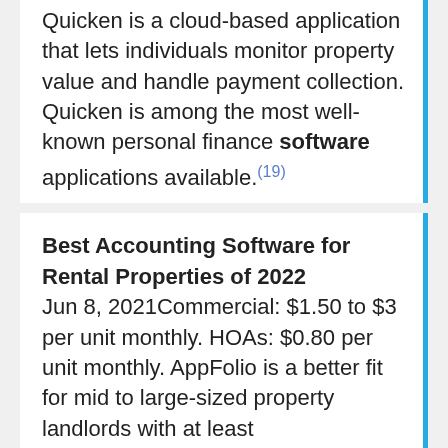Quicken is a cloud-based application that lets individuals monitor property value and handle payment collection. Quicken is among the most well-known personal finance software applications available.(19)
Best Accounting Software for Rental Properties of 2022
Jun 8, 2021Commercial: $1.50 to $3 per unit monthly. HOAs: $0.80 per unit monthly. AppFolio is a better fit for mid to large-sized property landlords with at least...